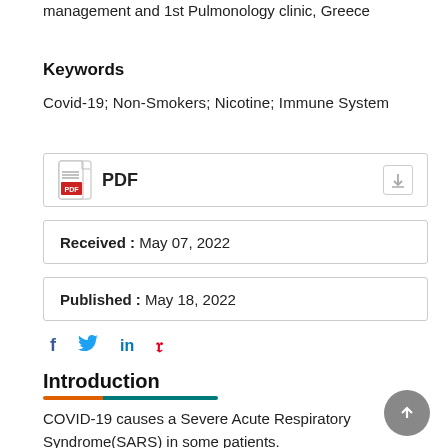management and 1st Pulmonology clinic, Greece
Keywords
Covid-19; Non-Smokers; Nicotine; Immune System
[Figure (other): PDF download button box with PDF icon and download icon]
Received : May 07, 2022
Published : May 18, 2022
[Figure (other): Social share icons: Facebook, Twitter, LinkedIn, Pinterest]
Introduction
COVID-19 causes a Severe Acute Respiratory Syndrome(SARS) in some patients.